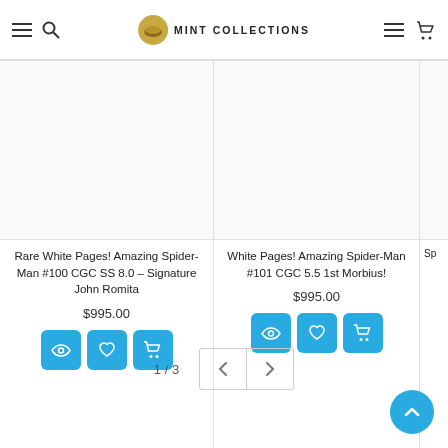Mint Collections
[Figure (screenshot): Product listing for Rare White Pages! Amazing Spider-Man #100 CGC SS 8.0 – Signature John Romita, priced at $995.00]
Rare White Pages! Amazing Spider-Man #100 CGC SS 8.0 – Signature John Romita
$995.00
[Figure (screenshot): Product listing for White Pages! Amazing Spider-Man #101 CGC 5.5 1st Morbius!, priced at $995.00]
White Pages! Amazing Spider-Man #101 CGC 5.5 1st Morbius!
$995.00
1 / 3